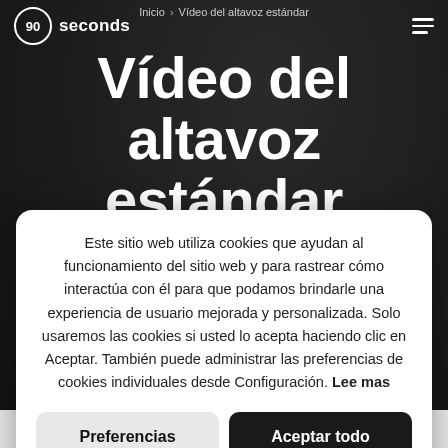[Figure (screenshot): Dark background with blurred person, website header of 90seconds.com]
Inicio > Vídeo del altavoz estándar
Vídeo del altavoz estándar
Este sitio web utiliza cookies que ayudan al funcionamiento del sitio web y para rastrear cómo interactúa con él para que podamos brindarle una experiencia de usuario mejorada y personalizada. Solo usaremos las cookies si usted lo acepta haciendo clic en Aceptar. También puede administrar las preferencias de cookies individuales desde Configuración. Lee mas
Preferencias | Aceptar todo
USD $2,475  $5,250